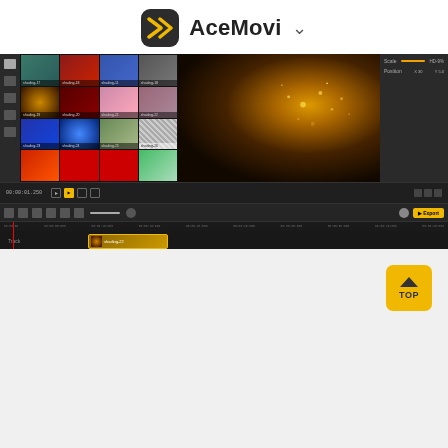AceMovi
[Figure (screenshot): AceMovi Video Editor interface showing media library with shading thumbnails, video preview with golden bokeh/sparkle effect, timeline with a clip named shading-22, toolbar controls, and an Export button]
[Figure (other): Yellow TOP button with upward arrow in top-right corner of bottom section]
TunesKit AceMovi Video Editor